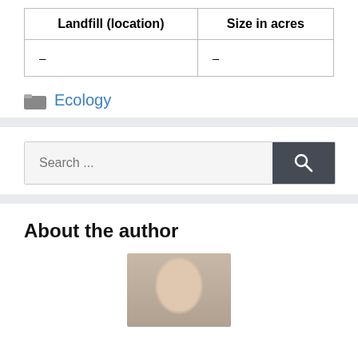| Landfill (location) | Size in acres |
| --- | --- |
| – | – |
Ecology
[Figure (screenshot): Search bar with text 'Search ...' and a dark grey search button with magnifying glass icon]
About the author
[Figure (photo): Partial photo of a person, showing top of head and hair]